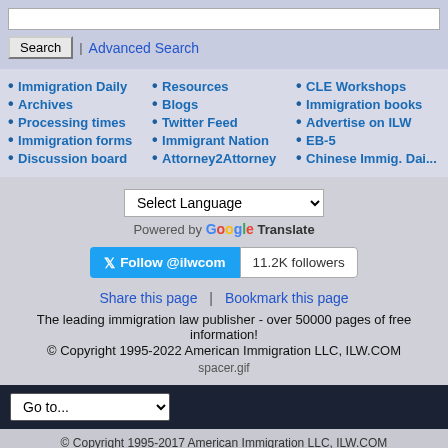[Figure (screenshot): Search input field]
• Immigration Daily
• Archives
• Processing times
• Immigration forms
• Discussion board
• Resources
• Blogs
• Twitter Feed
• Immigrant Nation
• Attorney2Attorney
• CLE Workshops
• Immigration books
• Advertise on ILW
• EB-5
• Chinese Immig. Dai...
Select Language | Powered by Google Translate
Follow @ilwcom | 11.2K followers
Share this page | Bookmark this page
The leading immigration law publisher - over 50000 pages of free information!
© Copyright 1995-2022 American Immigration LLC, ILW.COM
spacer.gif
Go to...
© Copyright 1995-2017 American Immigration LLC, ILW.COM
Powered by vBulletin® Version 5.5.4